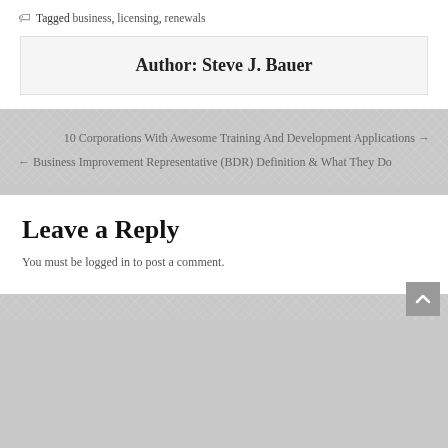Tagged business, licensing, renewals
Author: Steve J. Bauer
10 Corporations With Awesome Training And Development Applications →
← Business Improvement Representative (BDR) Definition & What They Do
Leave a Reply
You must be logged in to post a comment.